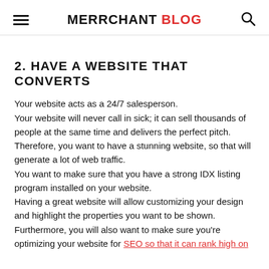MERRCHANT Blog
2. HAVE A WEBSITE THAT CONVERTS
Your website acts as a 24/7 salesperson. Your website will never call in sick; it can sell thousands of people at the same time and delivers the perfect pitch. Therefore, you want to have a stunning website, so that will generate a lot of web traffic. You want to make sure that you have a strong IDX listing program installed on your website. Having a great website will allow customizing your design and highlight the properties you want to be shown. Furthermore, you will also want to make sure you're optimizing your website for SEO so that it can rank high on